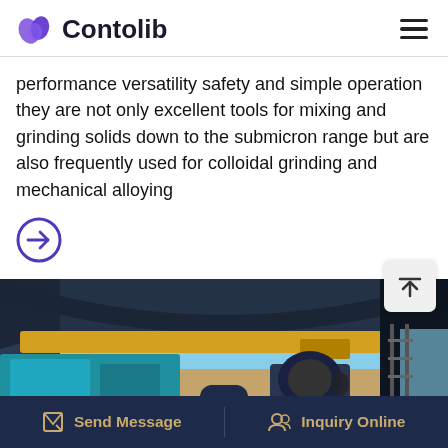Contolib
performance versatility safety and simple operation they are not only excellent tools for mixing and grinding solids down to the submicron range but are also frequently used for colloidal grinding and mechanical alloying
[Figure (illustration): Arrow/link button icon (circle with right arrow, purple outline)]
[Figure (photo): Industrial facility interior showing overhead crane, blue structural steel, large industrial machinery and equipment, desert landscape visible through open side]
Send Message   Inquiry Online